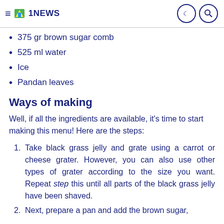1NEWS
375 gr brown sugar comb
525 ml water
Ice
Pandan leaves
Ways of making
Well, if all the ingredients are available, it’s time to start making this menu! Here are the steps:
Take black grass jelly and grate using a carrot or cheese grater. However, you can also use other types of grater according to the size you want. Repeat step this until all parts of the black grass jelly have been shaved.
Next, prepare a pan and add the brown sugar,